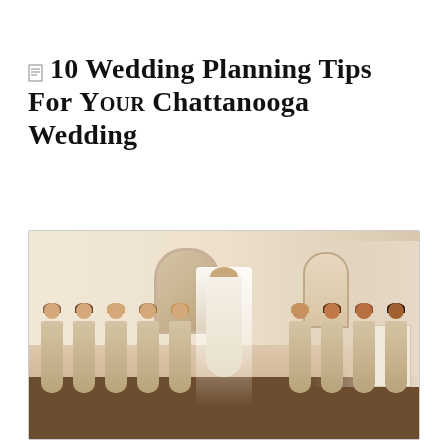10 Wedding Planning Tips for your Chattanooga Wedding
[Figure (photo): A bride in a white lace gown and long veil stands facing an arched stained-glass window, surrounded by bridesmaids in champagne/gold satin midi dresses who are reacting with joy and emotion. The setting is an elegant, light-filled room with white walls and wooden floors.]